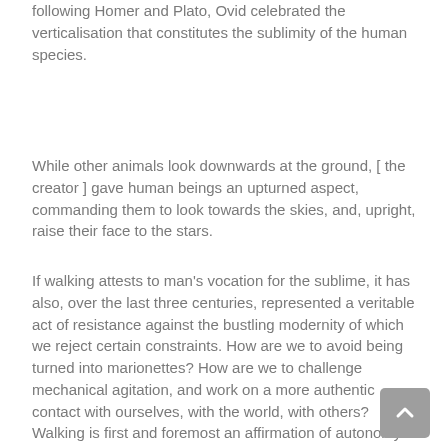following Homer and Plato, Ovid celebrated the verticalisation that constitutes the sublimity of the human species.
While other animals look downwards at the ground, [the creator] gave human beings an upturned aspect, commanding them to look towards the skies, and, upright, raise their face to the stars.
If walking attests to man's vocation for the sublime, it has also, over the last three centuries, represented a veritable act of resistance against the bustling modernity of which we reject certain constraints. How are we to avoid being turned into marionettes? How are we to challenge mechanical agitation, and work on a more authentic contact with ourselves, with the world, with others?
Walking is first and foremost an affirmation of autonomy. But it is also the foundation of an art, a culture, a philosophy. Marcher, une philosophie (« Walking, a philosophy ») is the